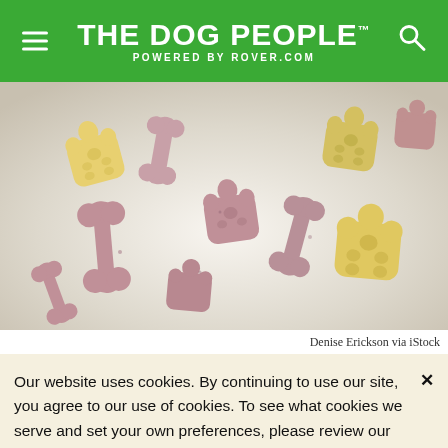THE DOG PEOPLE™ POWERED BY ROVER.COM
[Figure (photo): Colorful dog treats in paw and bone shapes — yellow/cream paw prints and pink/mauve bone shapes scattered on a white surface. Photo credit: Denise Erickson via iStock.]
Denise Erickson via iStock
Our website uses cookies. By continuing to use our site, you agree to our use of cookies. To see what cookies we serve and set your own preferences, please review our Cookie Policy. Learn More.